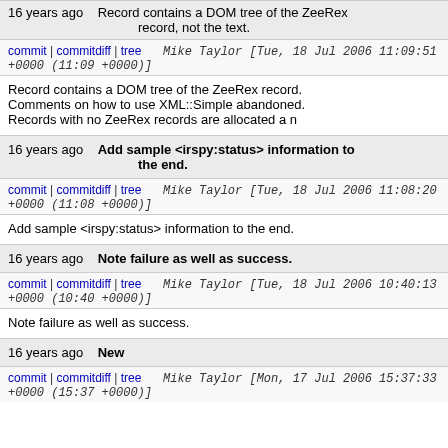16 years ago   Record contains a DOM tree of the ZeeRex record, not the text.
commit | commitdiff | tree   Mike Taylor [Tue, 18 Jul 2006 11:09:51 +0000 (11:09 +0000)]
Record contains a DOM tree of the ZeeRex record. Comments on how to use XML::Simple abandoned. Records with no ZeeRex records are allocated a n...
16 years ago   Add sample <irspy:status> information to the end.
commit | commitdiff | tree   Mike Taylor [Tue, 18 Jul 2006 11:08:20 +0000 (11:08 +0000)]
Add sample <irspy:status> information to the end.
16 years ago   Note failure as well as success.
commit | commitdiff | tree   Mike Taylor [Tue, 18 Jul 2006 10:40:13 +0000 (10:40 +0000)]
Note failure as well as success.
16 years ago   New
commit | commitdiff | tree   Mike Taylor [Mon, 17 Jul 2006 15:37:33 +0000 (15:37 +0000)]